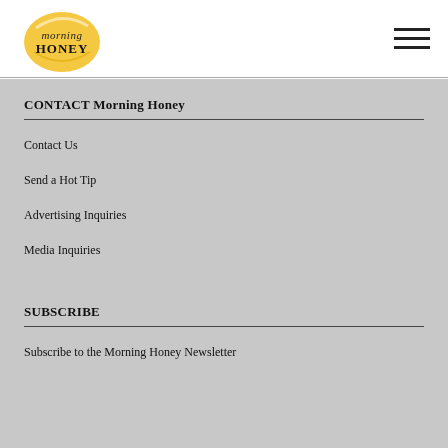[Figure (logo): Morning Honey logo: circular yellow/gold honeycomb-style emblem with 'morning' in italic script and 'HONEY' in bold serif capitals]
CONTACT Morning Honey
Contact Us
Send a Hot Tip
Advertising Inquiries
Media Inquiries
SUBSCRIBE
Subscribe to the Morning Honey Newsletter